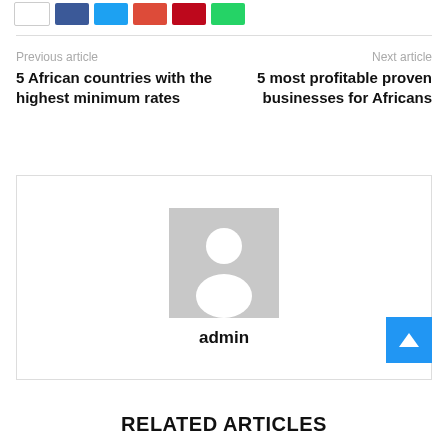[Figure (other): Social share buttons row: white, Facebook blue, Twitter cyan, Google+ red, Pinterest red, WhatsApp green]
Previous article
Next article
5 African countries with the highest minimum rates
5 most profitable proven businesses for Africans
[Figure (illustration): Author avatar placeholder: grey square with white silhouette person icon]
admin
RELATED ARTICLES